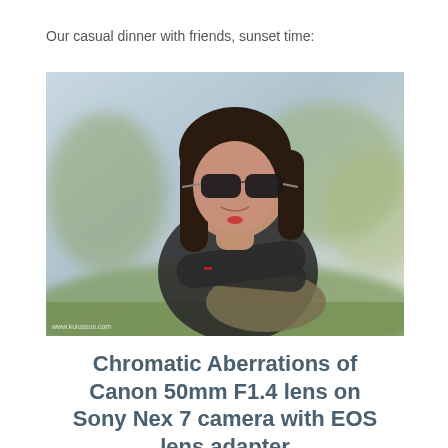Our casual dinner with friends, sunset time:
[Figure (photo): Portrait photo of a young woman with dark sunglasses and long brown hair, sitting outdoors in natural light. She is wearing a dark top and crossing her arms over her knees. The background shows green grass and trees with soft bokeh. Watermark reads: www.kolossus.com]
Chromatic Aberrations of Canon 50mm F1.4 lens on Sony Nex 7 camera with EOS lens adapter